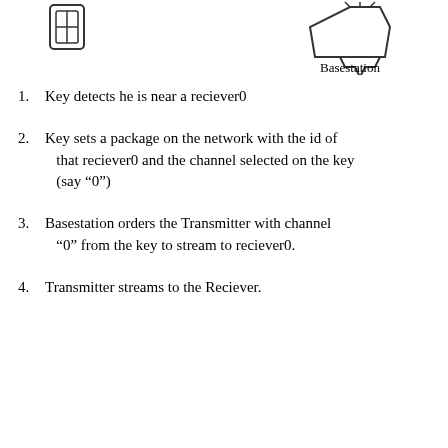[Figure (illustration): Top portion of a diagram showing two icons: a key icon on the left side and a Basestation icon on the right side with label 'Basestation' below it.]
Key detects he is near a reciever0
Key sets a package on the network with the id of that reciever0 and the channel selected on the key (say “0”)
Basestation orders the Transmitter with channel “0” from the key to stream to reciever0.
Transmitter streams to the Reciever.